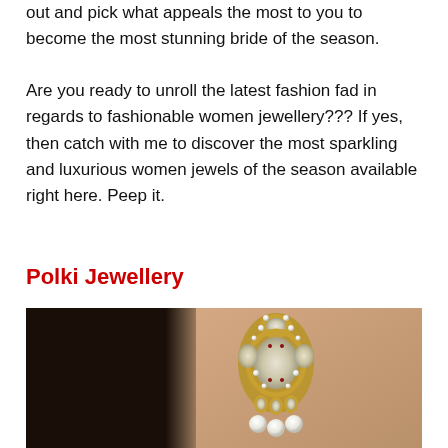out and pick what appeals the most to you to become the most stunning bride of the season.
Are you ready to unroll the latest fashion fad in regards to fashionable women jewellery??? If yes, then catch with me to discover the most sparkling and luxurious women jewels of the season available right here. Peep it.
Polki Jewellery
[Figure (photo): Close-up photo of a woman wearing a large ornate Polki jewellery earring with crystals, pearls and gold setting, shown against her ear with dark hair visible.]